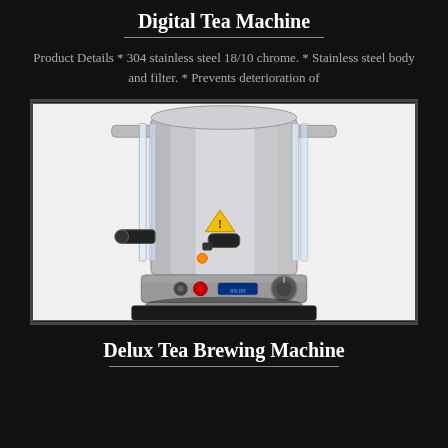Digital Tea Machine
Product Details * 304 stainless steel 18/10 chrome. * Stainless steel body and filter. * Prevents deterioration of
[Figure (photo): A stainless steel digital tea brewing machine with handles, spigot, control panel with knobs and digital display, and a warning label on the front.]
Delux Tea Brewing Machine